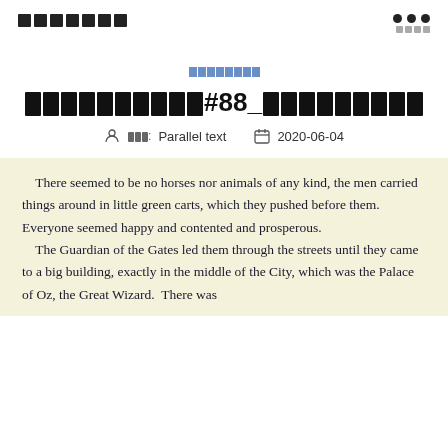■■■■■■■   •••  ■■■■
■■■■■■■■
■■■■■■■■■■#88_■■■■■■■■■
■■■: Parallel text   2020-06-04
There seemed to be no horses nor animals of any kind, the men carried things around in little green carts, which they pushed before them. Everyone seemed happy and contented and prosperous.
    The Guardian of the Gates led them through the streets until they came to a big building, exactly in the middle of the City, which was the Palace of Oz, the Great Wizard. There was